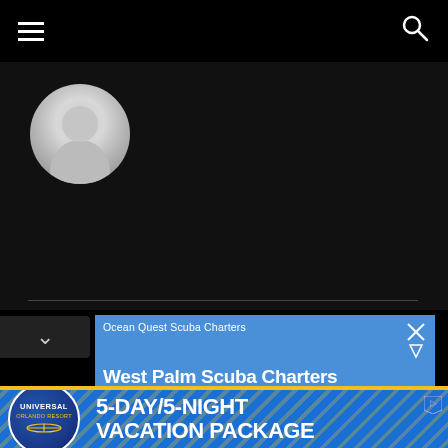[Figure (screenshot): Mobile app screenshot showing navigation bar with hamburger menu icon on left and search icon on right, on black background]
[Figure (screenshot): User profile avatar placeholder - gray silhouette on dark background]
[Figure (screenshot): Google ad for Ocean Quest Scuba Charters - West Palm Scuba Charters, with map thumbnail showing location pin]
Ocean Quest Scuba Charters
West Palm Scuba Charters
Drift diving on a living reef on our boat Sandy's Sunday Padi courses start daily.
[Figure (screenshot): Universal Orlando Resort banner ad - 5-DAY/5-NIGHT VACATION PACKAGE on blue background with diagonal yellow stripes]